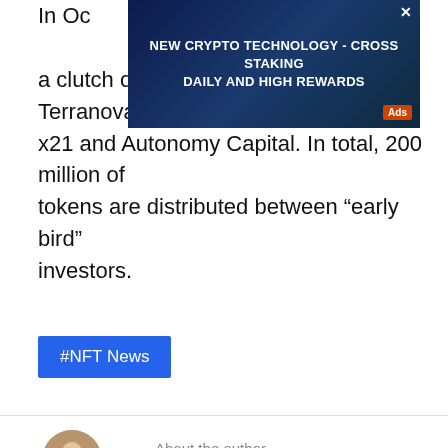In Oc... strat... from a clutch of high-profile VCs, including Terranova, x21 and Autonomy Capital. In total, 200 million of tokens are distributed between “early bird” investors.
[Figure (other): Advertisement banner overlay with dark blue background, text: NEW CRYPTO TECHNOLOGY - CROSS STAKING DAILY AND HIGH REWARDS, with Ads badge and X close button]
#NFT News
About the author
Vladislav Sopov
[Figure (photo): Author headshot photo of Vladislav Sopov]
[Figure (other): LinkedIn and email social icons]
Blockchain Analyst & Writer with scientific background. 6+ years in IT-analytics, 3+ years in blockchain.